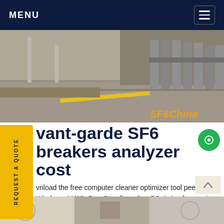MENU
[Figure (photo): Outdoor industrial scene showing gas cylinders/pipes and paved ground with yellow line, watermarked SF6China]
vant-garde SF6 breakers analyzer cost
vnload the free computer cleaner optimizer tool peed up Windows 11/10. One-Stop fix a slow PC, imize for gaming, clear up memory, space, ram PC and improve your PC performance now.Get price
[Figure (photo): Bottom strip showing partial industrial/equipment photos]